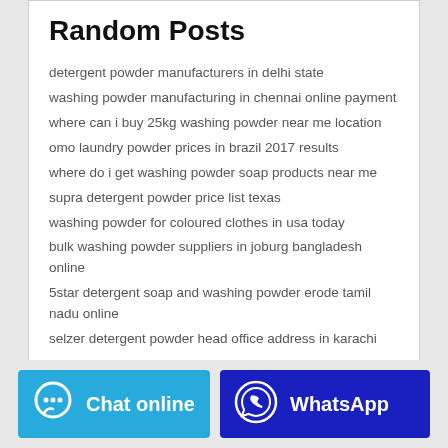Random Posts
detergent powder manufacturers in delhi state
washing powder manufacturing in chennai online payment
where can i buy 25kg washing powder near me location
omo laundry powder prices in brazil 2017 results
where do i get washing powder soap products near me
supra detergent powder price list texas
washing powder for coloured clothes in usa today
bulk washing powder suppliers in joburg bangladesh online
5star detergent soap and washing powder erode tamil nadu online
selzer detergent powder head office address in karachi
[Figure (other): Chat online button (light blue) and WhatsApp button (dark blue) side by side at the bottom of the page]